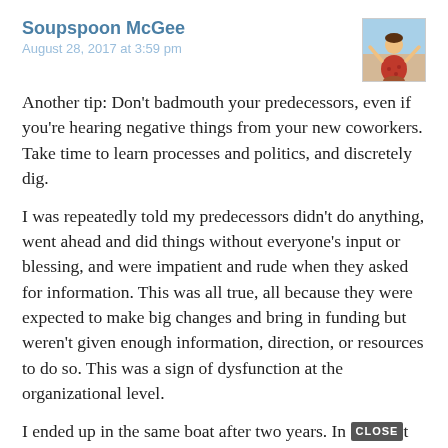Soupspoon McGee
August 28, 2017 at 3:59 pm
[Figure (illustration): Avatar image of a cartoon figure with arms raised, wearing orange/red clothing, against a light background]
Another tip: Don't badmouth your predecessors, even if you're hearing negative things from your new coworkers. Take time to learn processes and politics, and discretely dig.
I was repeatedly told my predecessors didn't do anything, went ahead and did things without everyone's input or blessing, and were impatient and rude when they asked for information. This was all true, all because they were expected to make big changes and bring in funding but weren't given enough information, direction, or resources to do so. This was a sign of dysfunction at the organizational level.
I ended up in the same boat after two years. In [CLOSE] t two years, I had access and resources to get things done, then my boss left, our access and resources dried up.